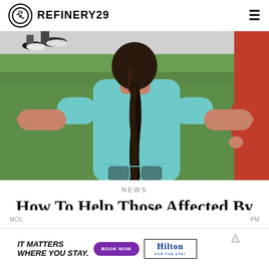REFINERY29
[Figure (photo): A girl with a dark braid, seen from behind, wearing a light blue shirt, holding hands with others on grass. People's feet visible in the background on a sidewalk.]
NEWS
How To Help Those Affected By The Texas School Shooting
MOL ... PM
[Figure (other): Hilton hotel advertisement banner: 'IT MATTERS WHERE YOU STAY.' with BOOK NOW button and Hilton logo.]